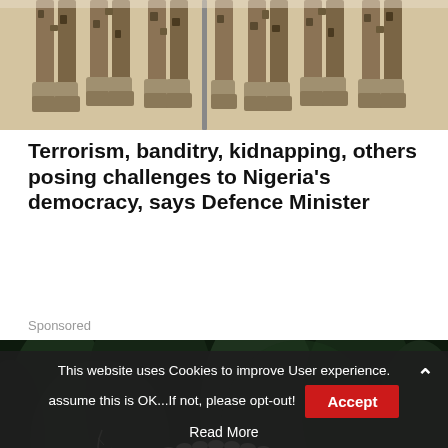[Figure (photo): Bottom portion of soldiers in camouflage uniforms and boots standing in a row]
Terrorism, banditry, kidnapping, others posing challenges to Nigeria’s democracy, says Defence Minister
Sponsored
[Figure (photo): A metallic sculptural art piece resembling a dinosaur skeleton or mechanical creature, set against a dark forest background]
This website uses Cookies to improve User experience. assume this is OK...If not, please opt-out! Accept Read More